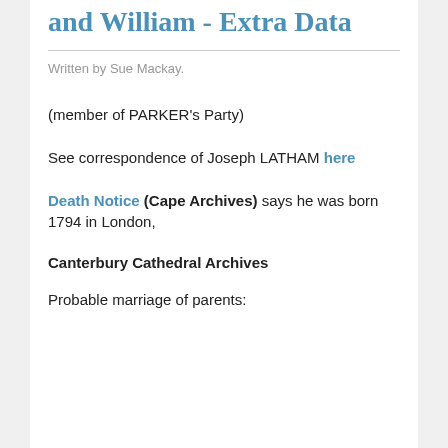and William - Extra Data
Written by Sue Mackay.
(member of PARKER's Party)
See correspondence of Joseph LATHAM here
Death Notice (Cape Archives) says he was born 1794 in London,
Canterbury Cathedral Archives
Probable marriage of parents: